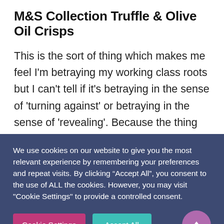M&S Collection Truffle & Olive Oil Crisps
This is the sort of thing which makes me feel I'm betraying my working class roots but I can't tell if it's betraying in the sense of 'turning against' or betraying in the sense of 'revealing'. Because the thing about truffle crisps is that, on the one hand, truffles are
We use cookies on our website to give you the most relevant experience by remembering your preferences and repeat visits. By clicking “Accept All”, you consent to the use of ALL the cookies. However, you may visit "Cookie Settings" to provide a controlled consent.